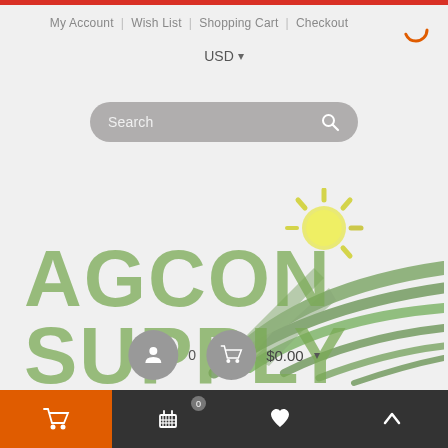My Account | Wish List | Shopping Cart | Checkout
USD ▾
[Figure (screenshot): Search bar with placeholder text 'Search' and a magnifying glass icon, styled with rounded pill shape in gray]
[Figure (logo): AGCON SUPPLY logo in olive/sage green bold text with a sun and green field graphic to the right]
[Figure (infographic): Bottom row showing user account icon circle, cart count 0, basket icon circle, and $0.00 price with dropdown]
Cart icon (orange) | Cart with badge 0 | Heart | Up arrow